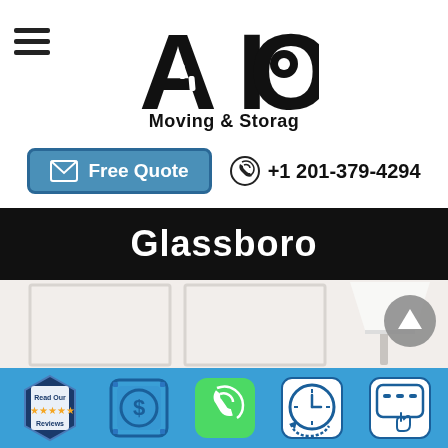[Figure (logo): AIO Moving & Storage logo with stylized A and O letters and road/target imagery]
[Figure (infographic): Free Quote button (blue) with envelope icon, and phone number +1 201-379-4294 with phone icon]
Glassboro
[Figure (photo): Interior room photo showing white walls, lamp on table, bright living space]
[Figure (infographic): Bottom toolbar with 5 icons: Read Our Reviews (badge), dollar sign quote, phone (green), clock/schedule, chat/SMS]